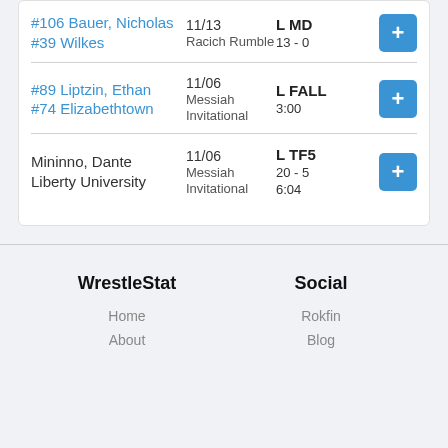| Wrestler | Date / Event | Result | Action |
| --- | --- | --- | --- |
| #106 Bauer, Nicholas
#39 Wilkes | 11/13
Racich Rumble | L MD
13 - 0 | + |
| #89 Liptzin, Ethan
#74 Elizabethtown | 11/06
Messiah Invitational | L FALL
3:00 | + |
| Mininno, Dante
Liberty University | 11/06
Messiah Invitational | L TF5
20 - 5
6:04 | + |
WrestleStat
Social
Home
About
Rokfin
Blog